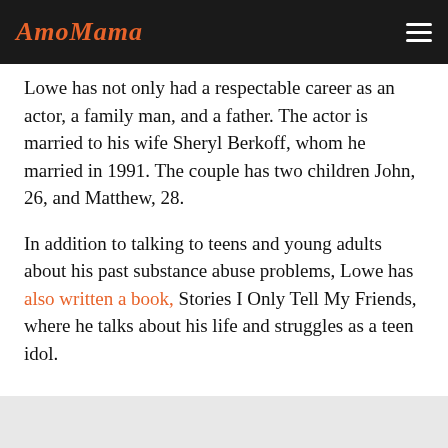AmoMama
Lowe has not only had a respectable career as an actor, a family man, and a father. The actor is married to his wife Sheryl Berkoff, whom he married in 1991. The couple has two children John, 26, and Matthew, 28.
In addition to talking to teens and young adults about his past substance abuse problems, Lowe has also written a book, Stories I Only Tell My Friends, where he talks about his life and struggles as a teen idol.